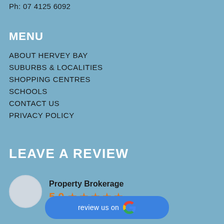Ph: 07 4125 6092
MENU
ABOUT HERVEY BAY
SUBURBS & LOCALITIES
SHOPPING CENTRES
SCHOOLS
CONTACT US
PRIVACY POLICY
LEAVE A REVIEW
Property Brokerage 5.0 ★★★★★
[Figure (logo): Google review button with Google G logo and text 'review us on']